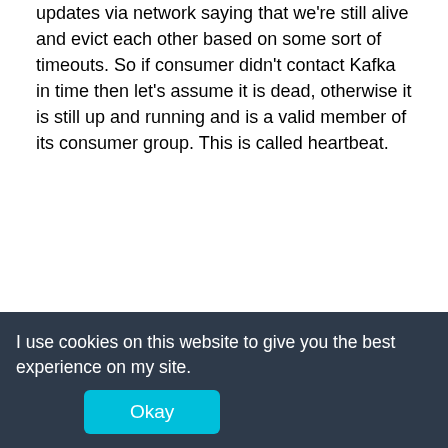updates via network saying that we're still alive and evict each other based on some sort of timeouts. So if consumer didn't contact Kafka in time then let's assume it is dead, otherwise it is still up and running and is a valid member of its consumer group. This is called heartbeat.
Back in old days and old Kafka versions there used to be a simple heartbeat mechanism that was triggered when you called your poll method. In other words, heartbeat was sent only when you called poll.
[Figure (flowchart): Sequence diagram showing yourThread, consumer, and kafka boxes with vertical lines and a 'poll' label]
I use cookies on this website to give you the best experience on my site. Okay